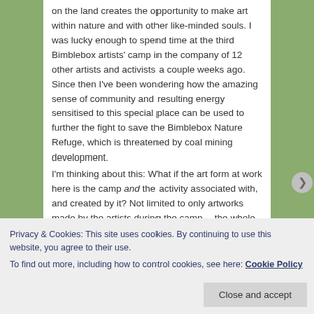on the land creates the opportunity to make art within nature and with other like-minded souls. I was lucky enough to spend time at the third Bimblebox artists' camp in the company of 12 other artists and activists a couple weeks ago. Since then I've been wondering how the amazing sense of community and resulting energy sensitised to this special place can be used to further the fight to save the Bimblebox Nature Refuge, which is threatened by coal mining development.

I'm thinking about this: What if the art form at work here is the camp and the activity associated with, and created by it? Not limited to only artworks made by the artists during the camp… the whole shebang is a happening with
Privacy & Cookies: This site uses cookies. By continuing to use this website, you agree to their use.
To find out more, including how to control cookies, see here: Cookie Policy
Close and accept